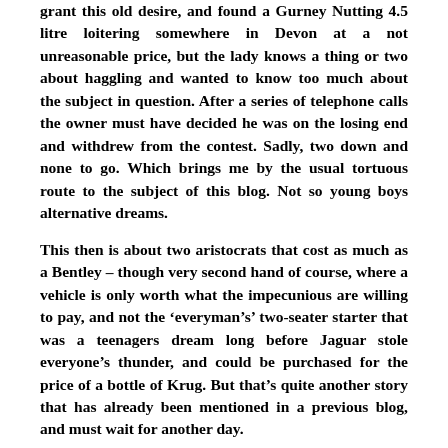grant this old desire, and found a Gurney Nutting 4.5 litre loitering somewhere in Devon at a not unreasonable price, but the lady knows a thing or two about haggling and wanted to know too much about the subject in question. After a series of telephone calls the owner must have decided he was on the losing end and withdrew from the contest. Sadly, two down and none to go. Which brings me by the usual tortuous route to the subject of this blog. Not so young boys alternative dreams.
This then is about two aristocrats that cost as much as a Bentley – though very second hand of course, where a vehicle is only worth what the impecunious are willing to pay, and not the ‘everyman’s’ two-seater starter that was a teenagers dream long before Jaguar stole everyone’s thunder, and could be purchased for the price of a bottle of Krug. But that’s quite another story that has already been mentioned in a previous blog, and must wait for another day.
But I’m jumping the gun. The first of these desirable beasts came hot on the heels of the local - jilted Bentley in the form of a 1960 Alvis TD 21 by Park Ward, and had absolutely nothing to do with